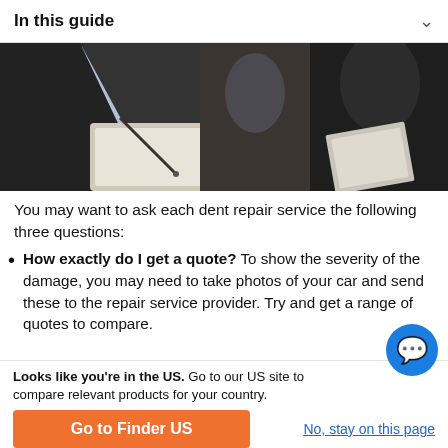In this guide
[Figure (photo): A person in a dark suit writing on a clipboard, inspecting a vehicle, with another person visible in the background also taking notes.]
You may want to ask each dent repair service the following three questions:
How exactly do I get a quote? To show the severity of the damage, you may need to take photos of your car and send these to the repair service provider. Try and get a range of quotes to compare.
Looks like you're in the US. Go to our US site to compare relevant products for your country.
Go to Finder US
No, stay on this page